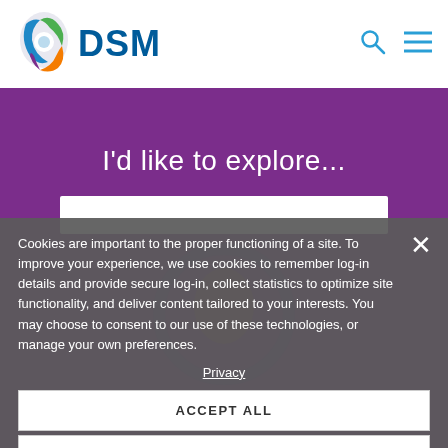[Figure (logo): DSM company logo with multicolor swirl icon and blue DSM text, search icon and hamburger menu icon on right]
I'd like to explore...
[Figure (screenshot): White search input box area]
Cookies are important to the proper functioning of a site. To improve your experience, we use cookies to remember log-in details and provide secure log-in, collect statistics to optimize site functionality, and deliver content tailored to your interests. You may choose to consent to our use of these technologies, or manage your own preferences.
Privacy
ACCEPT ALL
DECLINE ALL
MANAGE SETTINGS